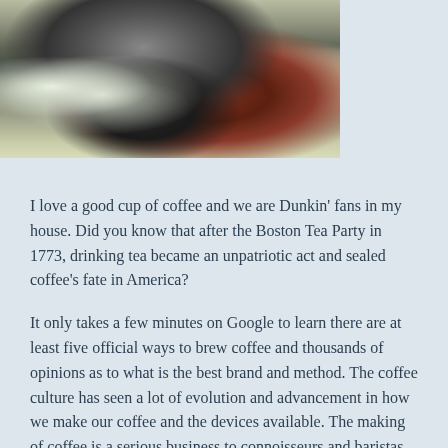[Figure (photo): A coffee percolator/maker with a dark mug of coffee and a plate with food, set on a kitchen counter with white cabinets in the background.]
I love a good cup of coffee and we are Dunkin' fans in my house. Did you know that after the Boston Tea Party in 1773, drinking tea became an unpatriotic act and sealed coffee's fate in America?
It only takes a few minutes on Google to learn there are at least five official ways to brew coffee and thousands of opinions as to what is the best brand and method. The coffee culture has seen a lot of evolution and advancement in how we make our coffee and the devices available. The making of coffee is a serious business to connoisseurs and baristas alike.
In the movie The Bucket List, billionaire Edward Cole was